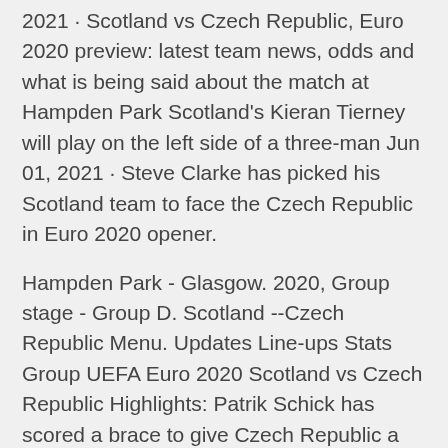2021 · Scotland vs Czech Republic, Euro 2020 preview: latest team news, odds and what is being said about the match at Hampden Park Scotland's Kieran Tierney will play on the left side of a three-man Jun 01, 2021 · Steve Clarke has picked his Scotland team to face the Czech Republic in Euro 2020 opener.
Hampden Park - Glasgow. 2020, Group stage - Group D. Scotland --Czech Republic Menu. Updates Line-ups Stats Group UEFA Euro 2020 Scotland vs Czech Republic Highlights: Patrik Schick has scored a brace to give Czech Republic a two-goal lead. After 23 years, Scotland return to play their first international Euro 2020: Scotland vs Czech Republic - follow live in-play action and stats. Did Scotland deserve to lose 2-0 to the Czechs?